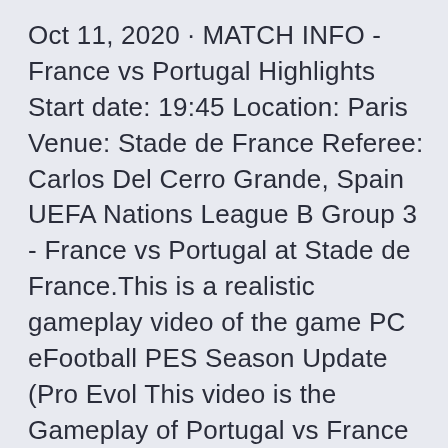Oct 11, 2020 · MATCH INFO - France vs Portugal Highlights Start date: 19:45 Location: Paris Venue: Stade de France Referee: Carlos Del Cerro Grande, Spain UEFA Nations League B Group 3 - France vs Portugal at Stade de France.This is a realistic gameplay video of the game PC eFootball PES Season Update (Pro Evol This video is the Gameplay of Portugal vs France (Group F) UEFA EURO 2020 PES 2020If you want to support on Patreon https://www.patreon.com/pesmeSuggested vi Your Euro 2020: Portugal vs France tickets will be delivered by Royal Mail and FedEx International. With our ticket guarantee you can buy Euro 2020: Portugal vs France tickets with confidence so you can enjoy the match at Ferenc Puskas Stadium in Budapest on Wednesday,